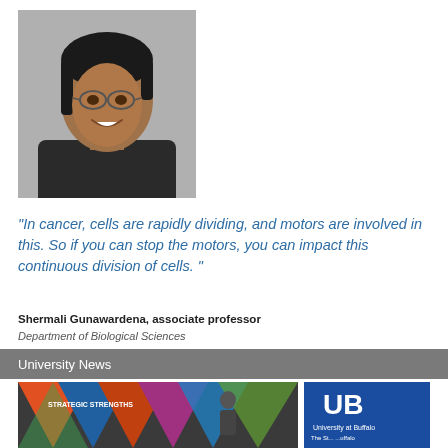[Figure (photo): Headshot photo of Shermali Gunawardena, a woman with glasses and dark hair, wearing a dark blazer, smiling]
“In cancer, cells are rapidly dividing, and motors are involved in this. So if you can stop the motors, you can impact this continuous division of cells.”
Shermali Gunawardena, associate professor
Department of Biological Sciences
University News
[Figure (photo): Photo showing a conference or event with UB (University at Buffalo) branding, strategic strengths display panels on the left and a blue UB banner on the right]